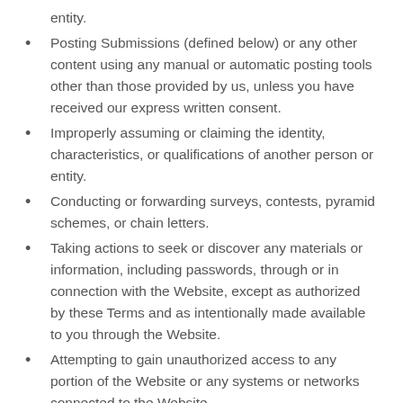entity.
Posting Submissions (defined below) or any other content using any manual or automatic posting tools other than those provided by us, unless you have received our express written consent.
Improperly assuming or claiming the identity, characteristics, or qualifications of another person or entity.
Conducting or forwarding surveys, contests, pyramid schemes, or chain letters.
Taking actions to seek or discover any materials or information, including passwords, through or in connection with the Website, except as authorized by these Terms and as intentionally made available to you through the Website.
Attempting to gain unauthorized access to any portion of the Website or any systems or networks connected to the Website.
Interfering or attempting to interfere with the use of the Website by other users.